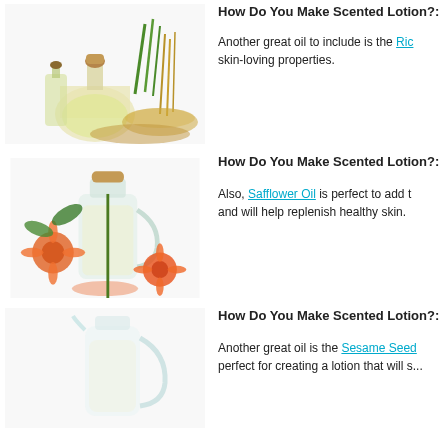[Figure (photo): A glass bottle of rice bran oil with green grass stalks, grain stalks, and a bowl of rice bran on a white background.]
How Do You Make Scented Lotion?:
Another great oil to include is the Ric... skin-loving properties.
[Figure (photo): A glass pitcher of safflower oil surrounded by safflower flowers and plants with orange petals on a white background.]
How Do You Make Scented Lotion?:
Also, Safflower Oil is perfect to add t... and will help replenish healthy skin.
[Figure (photo): A clear glass pitcher of sesame seed oil on a white background.]
How Do You Make Scented Lotion?:
Another great oil is the Sesame Seed... perfect for creating a lotion that will s...